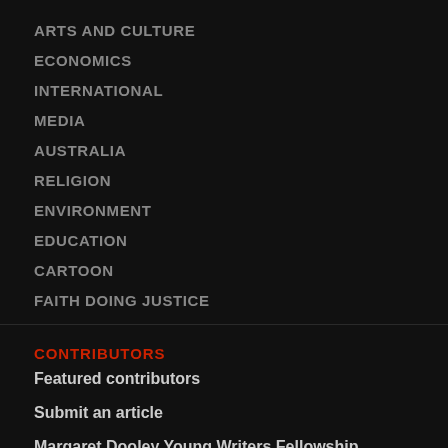ARTS AND CULTURE
ECONOMICS
INTERNATIONAL
MEDIA
AUSTRALIA
RELIGION
ENVIRONMENT
EDUCATION
CARTOON
FAITH DOING JUSTICE
CONTRIBUTORS
Featured contributors
Submit an article
Margaret Dooley Young Writers Fellowship
Work experience